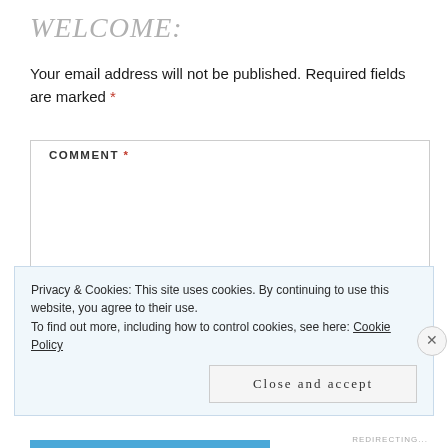WELCOME:
Your email address will not be published. Required fields are marked *
COMMENT *
Privacy & Cookies: This site uses cookies. By continuing to use this website, you agree to their use.
To find out more, including how to control cookies, see here: Cookie Policy
Close and accept